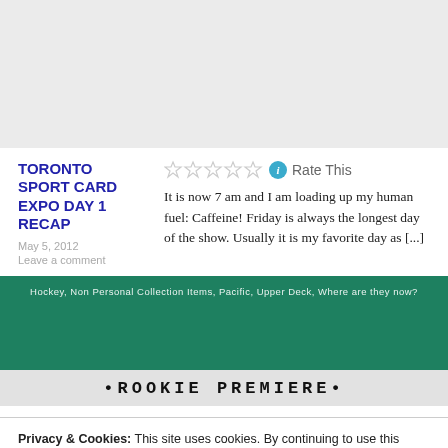[Figure (other): Gray banner placeholder area at the top of the page]
TORONTO SPORT CARD EXPO DAY 1 RECAP
May 5, 2012
Leave a comment
Rate This
It is now 7 am and I am loading up my human fuel: Caffeine! Friday is always the longest day of the show. Usually it is my favorite day as [...]
[Figure (photo): Hockey card image strip showing a green background with text labels: Hockey, Non Personal Collection Items, Pacific, Upper Deck, Where are they now? and a ROOKIE PREMIERE bar at the bottom]
Privacy & Cookies: This site uses cookies. By continuing to use this website, you agree to their use.
To find out more, including how to control cookies, see here: Cookie Policy
Close and accept